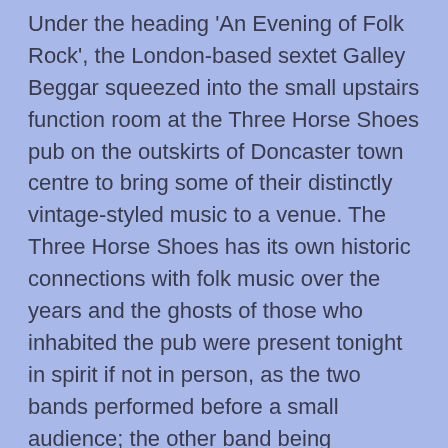Under the heading 'An Evening of Folk Rock', the London-based sextet Galley Beggar squeezed into the small upstairs function room at the Three Horse Shoes pub on the outskirts of Doncaster town centre to bring some of their distinctly vintage-styled music to a venue. The Three Horse Shoes has its own historic connections with folk music over the years and the ghosts of those who inhabited the pub were present tonight in spirit if not in person, as the two bands performed before a small audience; the other band being Hartlepool's The Jar Family, returning to Doncaster after their recent success at the Doncaster Folk Festival a few weeks ago. The few folk-rock enthusiasts who did brave the weather to attend the concert were treated to an evening of 1960s-style folk rock courtesy of Galley Beggar, whilst the Hartlepool songwriter collective performed their own brand of self-penned indie-folk.